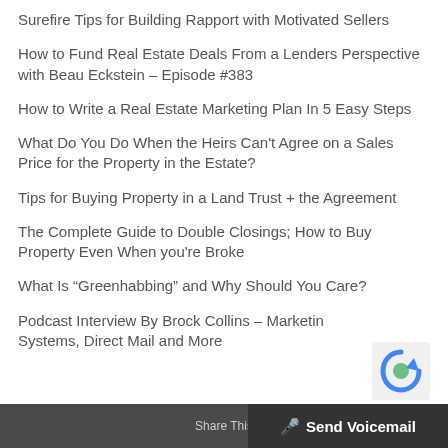Surefire Tips for Building Rapport with Motivated Sellers
How to Fund Real Estate Deals From a Lenders Perspective with Beau Eckstein – Episode #383
How to Write a Real Estate Marketing Plan In 5 Easy Steps
What Do You Do When the Heirs Can't Agree on a Sales Price for the Property in the Estate?
Tips for Buying Property in a Land Trust + the Agreement
The Complete Guide to Double Closings; How to Buy Property Even When you're Broke
What Is “Greenhabbing” and Why Should You Care?
Podcast Interview By Brock Collins – Marketing Systems, Direct Mail and More
Share This | Send Voicemail